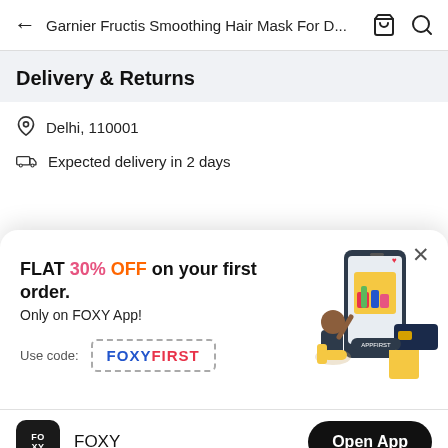← Garnier Fructis Smoothing Hair Mask For D...
Delivery & Returns
Delhi, 110001
Expected delivery in 2 days
[Figure (screenshot): Promotional modal popup with 'FLAT 30% OFF on your first order. Only on FOXY App!' and coupon code FOXYFIRST, with an illustration of a person shopping on a phone app]
FOXY
Open App